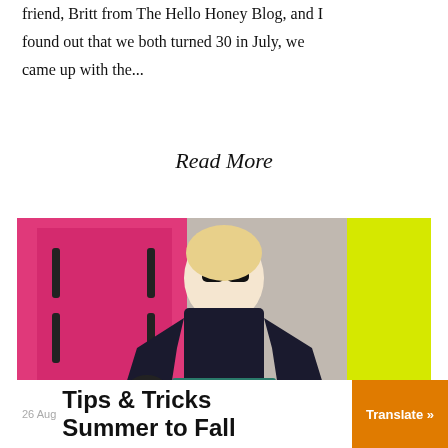friend, Britt from The Hello Honey Blog, and I found out that we both turned 30 in July, we came up with the...
Read More
[Figure (photo): A blonde woman wearing large sunglasses, a black long-sleeve turtleneck top with large bell sleeves, and a colorful teal/floral skirt, posing in front of a bright pink door and a neon yellow wall.]
26 Aug  Tips & Tricks Summer to Fall